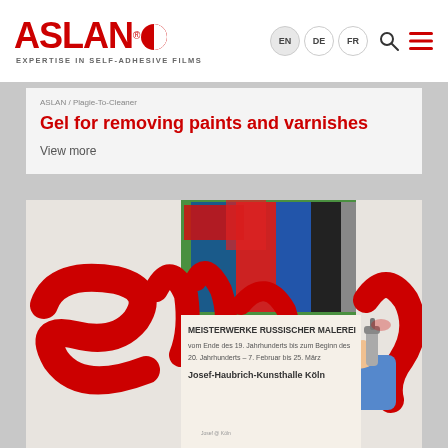ASLAN — EXPERTISE IN SELF-ADHESIVE FILMS
ASLAN / Plagie-To-Cleaner
Gel for removing paints and varnishes
View more
[Figure (photo): Photo of a hand in a blue sleeve using a spray on a wall/poster covered in large red graffiti-style lettering. In the background is a colorful poster with text 'MEISTERWERKE RUSSISCHER MALEREI vom Ende des 19. Jahrhunderts bis zum Beginn des 20. Jahrhunderts – 7. Februar bis 25. März Josef-Haubrich-Kunsthalle Köln'.]